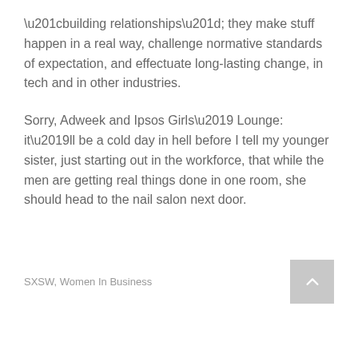“building relationships”; they make stuff happen in a real way, challenge normative standards of expectation, and effectuate long-lasting change, in tech and in other industries.

Sorry, Adweek and Ipsos Girls’ Lounge: it’ll be a cold day in hell before I tell my younger sister, just starting out in the workforce, that while the men are getting real things done in one room, she should head to the nail salon next door.
SXSW, Women In Business